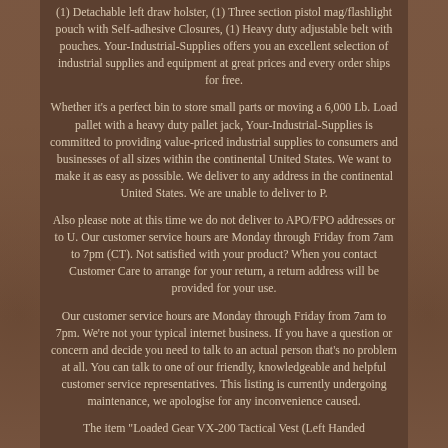(1) Detachable left draw holster, (1) Three section pistol mag/flashlight pouch with Self-adhesive Closures, (1) Heavy duty adjustable belt with pouches. Your-Industrial-Supplies offers you an excellent selection of industrial supplies and equipment at great prices and every order ships for free.
Whether it's a perfect bin to store small parts or moving a 6,000 Lb. Load pallet with a heavy duty pallet jack, Your-Industrial-Supplies is committed to providing value-priced industrial supplies to consumers and businesses of all sizes within the continental United States. We want to make it as easy as possible. We deliver to any address in the continental United States. We are unable to deliver to P.
Also please note at this time we do not deliver to APO/FPO addresses or to U. Our customer service hours are Monday through Friday from 7am to 7pm (CT). Not satisfied with your product? When you contact Customer Care to arrange for your return, a return address will be provided for your use.
Our customer service hours are Monday through Friday from 7am to 7pm. We're not your typical internet business. If you have a question or concern and decide you need to talk to an actual person that's no problem at all. You can talk to one of our friendly, knowledgeable and helpful customer service representatives. This listing is currently undergoing maintenance, we apologise for any inconvenience caused.
The item "Loaded Gear VX-200 Tactical Vest (Left Handed